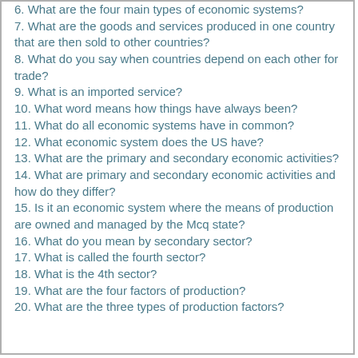6. What are the four main types of economic systems?
7. What are the goods and services produced in one country that are then sold to other countries?
8. What do you say when countries depend on each other for trade?
9. What is an imported service?
10. What word means how things have always been?
11. What do all economic systems have in common?
12. What economic system does the US have?
13. What are the primary and secondary economic activities?
14. What are primary and secondary economic activities and how do they differ?
15. Is it an economic system where the means of production are owned and managed by the Mcq state?
16. What do you mean by secondary sector?
17. What is called the fourth sector?
18. What is the 4th sector?
19. What are the four factors of production?
20. What are the three types of production factors?